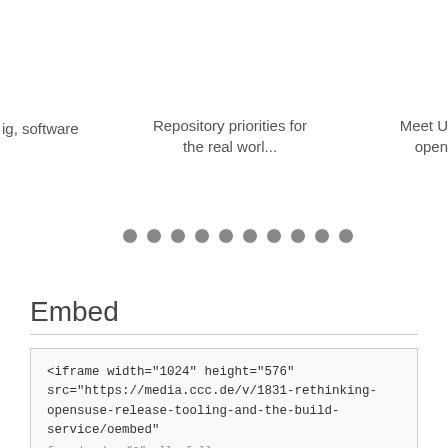ig, software
Repository priorities for the real worl...
Meet U open
[Figure (other): Carousel navigation dots — 10 filled grey circles in a horizontal row]
Embed
<iframe width="1024" height="576" src="https://media.ccc.de/v/1831-rethinking-opensuse-release-tooling-and-the-build-service/oembed" frameborder="0" allowfullscreen></iframe>